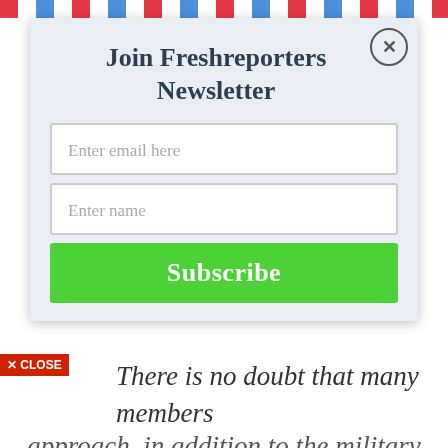[Figure (screenshot): Airmail-style decorative border strip at top of page with repeating red, white, and blue diagonal stripes]
Join Freshreporters Newsletter
Enter email here
Enter name
Subscribe
approach, in addition to the military option which has so far performed significantly well.
There is no doubt that many members